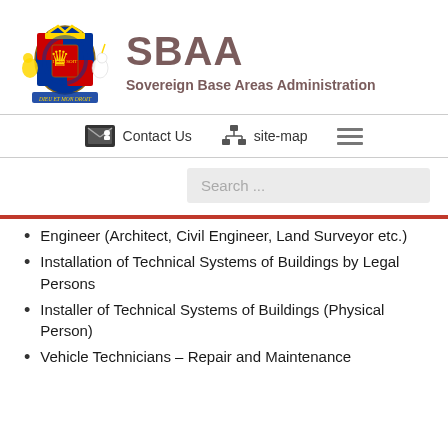[Figure (logo): UK Royal Coat of Arms with lion and unicorn supporters, shield, crown, and motto banner in full colour]
SBAA
Sovereign Base Areas Administration
Contact Us   site-map
Search ...
Engineer (Architect, Civil Engineer, Land Surveyor etc.)
Installation of Technical Systems of Buildings by Legal Persons
Installer of Technical Systems of Buildings (Physical Person)
Vehicle Technicians – Repair and Maintenance